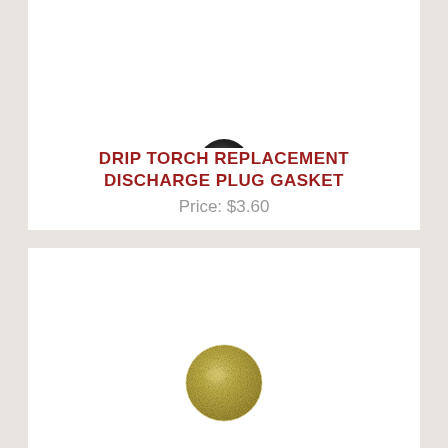[Figure (photo): Small dark circular object (discharge plug gasket) shown from above on white background, top card]
DRIP TORCH REPLACEMENT DISCHARGE PLUG GASKET
Price: $3.60
[Figure (photo): Small golden/brass circular disc gasket shown from above on white background, bottom card]